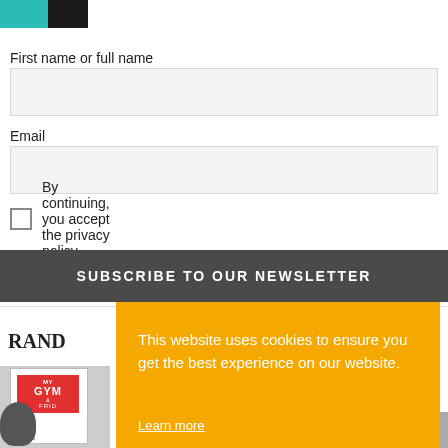[Figure (screenshot): Partial thumbnail image showing a dark background with a teal/cyan element and partial person image]
First name or full name
[Figure (screenshot): Text input field for first name or full name]
Email
[Figure (screenshot): Text input field for email]
By continuing, you accept the privacy policy
SUBSCRIBE TO OUR NEWSLETTER
RAND
[Figure (screenshot): Partial book cover image with kettlebell]
[Figure (screenshot): Cookie consent banner overlay with orange background]
This website uses cookies to ensure you get the best experience on our website.
Learn more
Got it